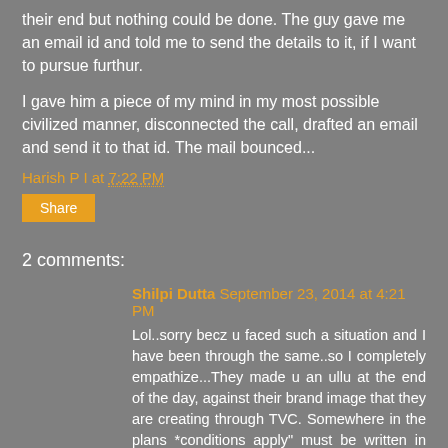their end but nothing could be done. The guy gave me an email id and told me to send the details to it, if I want to pursue furthur.
I gave him a piece of my mind in my most possible civilized manner, disconnected the call, drafted an email and send it to that id. The mail bounced...
Harish P I at 7:22 PM
Share
2 comments:
Shilpi Dutta September 23, 2014 at 4:21 PM
Lol..sorry becz u faced such a situation and I have been through the same..so I completely empathize...They made u an ullu at the end of the day, against their brand image that they are creating through TVC. Somewhere in the plans *conditions apply" must be written in micro fonts :p
Reply